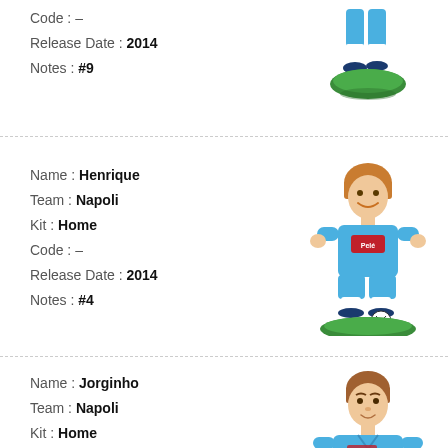Code : –
Release Date : 2014
Notes : #9
[Figure (photo): Figurine of a Napoli football player in blue kit, partial view (lower body), on a green base]
Name : Henrique
Team : Napoli
Kit : Home
Code : –
Release Date : 2014
Notes : #4
[Figure (photo): Figurine of Henrique, Napoli player in blue home kit with orange/blonde hair, smiling, on a green base with a ball]
Name : Jorginho
Team : Napoli
Kit : Home
[Figure (photo): Figurine of Jorginho, Napoli player in blue home kit, partial view (head and upper body)]